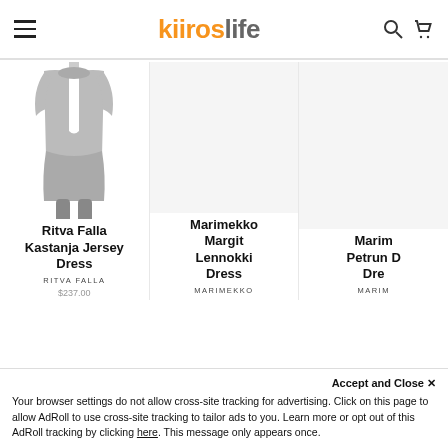kitroslife — navigation header with hamburger menu, logo, search and cart icons
[Figure (illustration): Fashion illustration of a woman wearing a dark short-sleeved dress, standing pose, light grey silhouette style]
Ritva Falla Kastanja Jersey Dress
RITVA FALLA
$237.00
Marimekko Margit Lennokki Dress
MARIMEKKO
Marimekko Petrun Dress (partially visible)
MARIMEKKO (partially visible)
Accept and Close ✕
Your browser settings do not allow cross-site tracking for advertising. Click on this page to allow AdRoll to use cross-site tracking to tailor ads to you. Learn more or opt out of this AdRoll tracking by clicking here. This message only appears once.